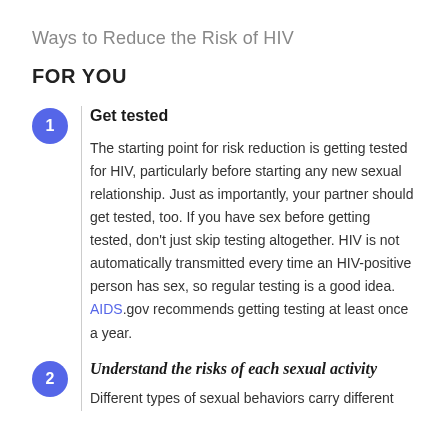Ways to Reduce the Risk of HIV
FOR YOU
Get tested
The starting point for risk reduction is getting tested for HIV, particularly before starting any new sexual relationship. Just as importantly, your partner should get tested, too. If you have sex before getting tested, don't just skip testing altogether. HIV is not automatically transmitted every time an HIV-positive person has sex, so regular testing is a good idea. AIDS.gov recommends getting testing at least once a year.
Understand the risks of each sexual activity
Different types of sexual behaviors carry different